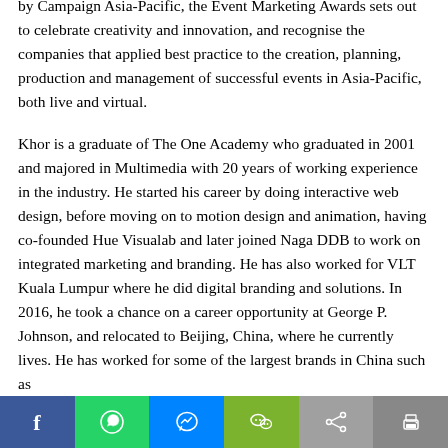by Campaign Asia-Pacific, the Event Marketing Awards sets out to celebrate creativity and innovation, and recognise the companies that applied best practice to the creation, planning, production and management of successful events in Asia-Pacific, both live and virtual.
Khor is a graduate of The One Academy who graduated in 2001 and majored in Multimedia with 20 years of working experience in the industry. He started his career by doing interactive web design, before moving on to motion design and animation, having co-founded Hue Visualab and later joined Naga DDB to work on integrated marketing and branding. He has also worked for VLT Kuala Lumpur where he did digital branding and solutions. In 2016, he took a chance on a career opportunity at George P. Johnson, and relocated to Beijing, China, where he currently lives. He has worked for some of the largest brands in China such as